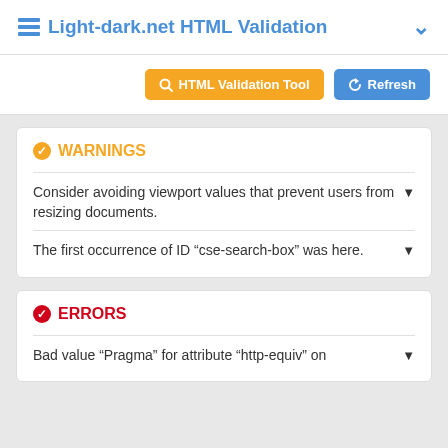Light-dark.net HTML Validation
WARNINGS
Consider avoiding viewport values that prevent users from resizing documents.
The first occurrence of ID “cse-search-box” was here.
ERRORS
Bad value “Pragma” for attribute “http-equiv” on